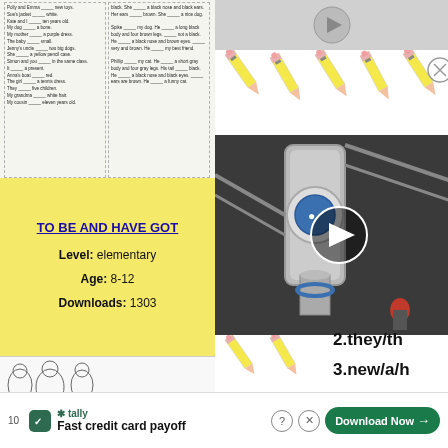[Figure (screenshot): Worksheet preview with two columns of fill-in-the-blank sentences about 'to be and have got', with dashed borders]
TO BE AND HAVE GOT
Level: elementary
Age: 8-12
Downloads: 1303
[Figure (illustration): Worksheet coloring activity with Spongebob characters and fill-in-the-blank exercises]
[Figure (screenshot): Video thumbnail showing industrial machinery with a play button overlay]
[Figure (illustration): Decorative pencil icons arranged in a row]
2.they/th
3.new/a/h
.haven't
.twelve/
Fast credit card payoff
[Figure (logo): Tally app logo - green square with checkmark]